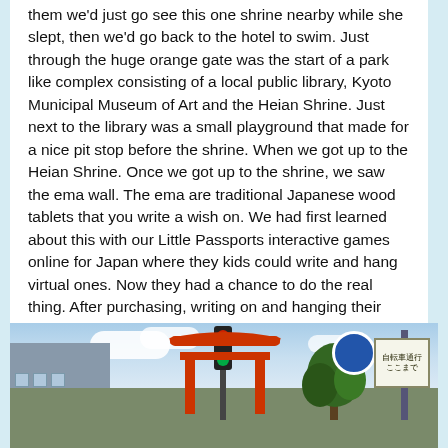them we'd just go see this one shrine nearby while she slept, then we'd go back to the hotel to swim. Just through the huge orange gate was the start of a park like complex consisting of a local public library, Kyoto Municipal Museum of Art and the Heian Shrine. Just next to the library was a small playground that made for a nice pit stop before the shrine. When we got up to the Heian Shrine. Once we got up to the shrine, we saw the ema wall. The ema are traditional Japanese wood tablets that you write a wish on. We had first learned about this with our Little Passports interactive games online for Japan where they kids could write and hang virtual ones. Now they had a chance to do the real thing. After purchasing, writing on and hanging their emas, we walked up to the main part of the shrine and did a quick loop around the grounds as the natives were getting restless.
[Figure (photo): Street-level photo showing a large red torii gate in the background against a partly cloudy sky, with buildings on the left, trees in the center-right, traffic lights, and Japanese road signs on the right side.]